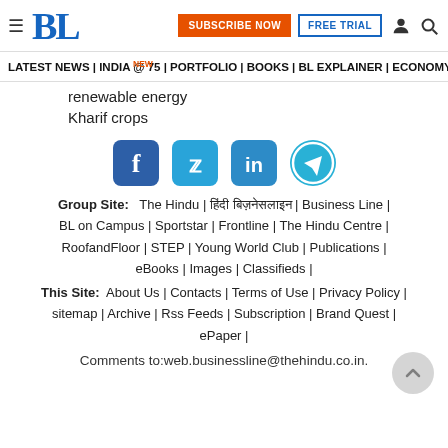BL | SUBSCRIBE NOW | FREE TRIAL
LATEST NEWS | INDIA @ 75 NEW | PORTFOLIO | BOOKS | BL EXPLAINER | ECONOMY | AGR
renewable energy
Kharif crops
[Figure (other): Social media icons: Facebook, Twitter, LinkedIn, Telegram]
Group Site: The Hindu | हिंदी बिज़नेसलाइन | Business Line | BL on Campus | Sportstar | Frontline | The Hindu Centre | RoofandFloor | STEP | Young World Club | Publications | eBooks | Images | Classifieds |
This Site: About Us | Contacts | Terms of Use | Privacy Policy | sitemap | Archive | Rss Feeds | Subscription | Brand Quest | ePaper |
Comments to:web.businessline@thehindu.co.in.